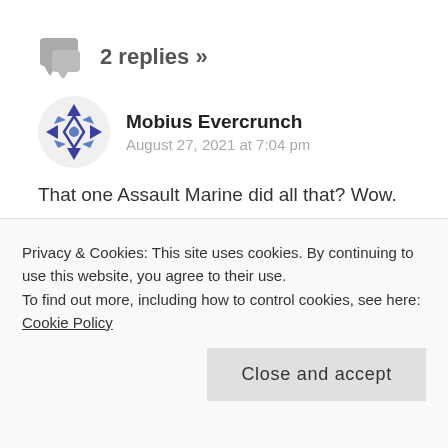2 replies »
Mobius Evercrunch
August 27, 2021 at 7:04 pm
That one Assault Marine did all that? Wow.
★ Like
REPLY
Privacy & Cookies: This site uses cookies. By continuing to use this website, you agree to their use.
To find out more, including how to control cookies, see here: Cookie Policy
Close and accept
alone. So what you will of the Emperor or the